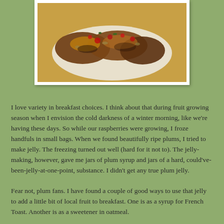[Figure (photo): A photo of food on a white plate, appearing to be French toast or similar breakfast food with berries and garnishes, on a white border background.]
I love variety in breakfast choices. I think about that during fruit growing season when I envision the cold darkness of a winter morning, like we're having these days. So while our raspberries were growing, I froze handfuls in small bags. When we found beautifully ripe plums, I tried to make jelly. The freezing turned out well (hard for it not to). The jelly-making, however, gave me jars of plum syrup and jars of a hard, could've-been-jelly-at-one-point, substance. I didn't get any true plum jelly.
Fear not, plum fans. I have found a couple of good ways to use that jelly to add a little bit of local fruit to breakfast. One is as a syrup for French Toast.  Another is as a sweetener in oatmeal.